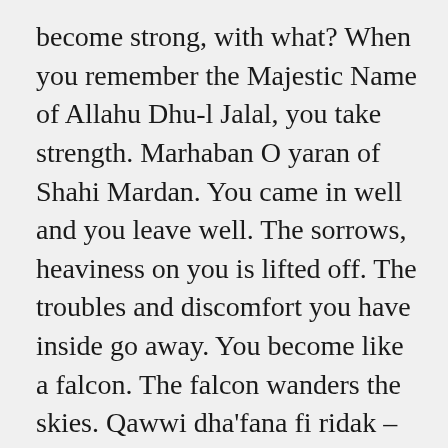become strong, with what? When you remember the Majestic Name of Allahu Dhu-l Jalal, you take strength. Marhaban O yaran of Shahi Mardan. You came in well and you leave well. The sorrows, heaviness on you is lifted off. The troubles and discomfort you have inside go away. You become like a falcon. The falcon wanders the skies. Qawwi dha'fana fi ridak – May You make us grow strong in the way of pleasing You O our Lord. Who wants to be strong? Go ahead O Shahi Mardan. Whoever wants to be strong, let him work in the way of pleasing Allah. Finished! He doesn't need any pills or medicine. When you take your step in the